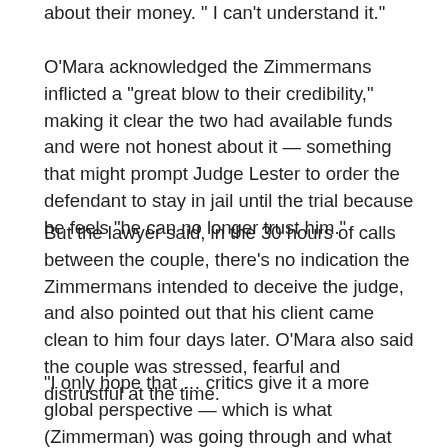about their money. " I can't understand it."
O'Mara acknowledged the Zimmermans inflicted a “great blow to their credibility,” making it clear the two had available funds and were not honest about it — something that might prompt Judge Lester to order the defendant to stay in jail until the trial because he feels “he can no longer trust him.”
But the lawyer said, in the 30 hours of calls between the couple, there's no indication the Zimmermans intended to deceive the judge, and also pointed out that his client came clean to him four days later. O’Mara also said the couple was stressed, fearful and distrustful at the time.
“I only hope that … critics give it a more global perspective — which is what (Zimmerman) was going through and what his family was going through as to why they may not have been completely honest about the money — and sort of what they